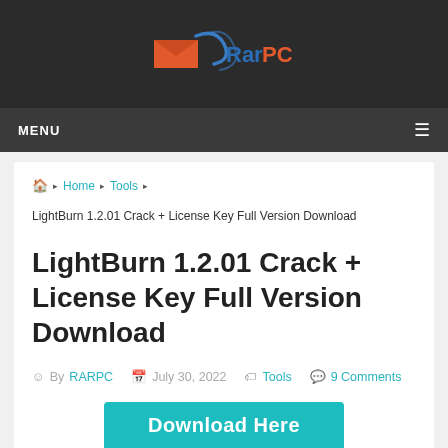[Figure (logo): RarPC logo with envelope icon and swirl, text 'Rar' in blue and 'PC' in orange]
MENU ≡
Home › Tools ›
LightBurn 1.2.01 Crack + License Key Full Version Download
LightBurn 1.2.01 Crack + License Key Full Version Download
By RARPC   July 30, 2022   Tools   9 Comments
[Figure (other): Download Here button in teal/cyan color]